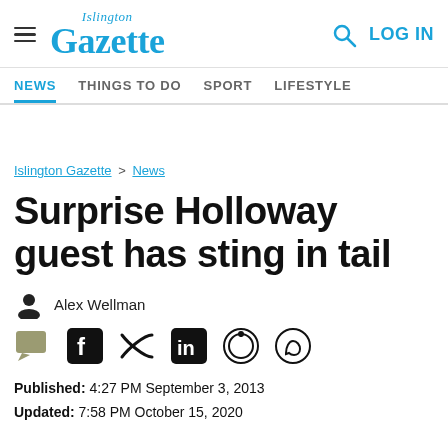Islington Gazette — LOG IN
NEWS | THINGS TO DO | SPORT | LIFESTYLE
Islington Gazette > News
Surprise Holloway guest has sting in tail
Alex Wellman
Published: 4:27 PM September 3, 2013
Updated: 7:58 PM October 15, 2020